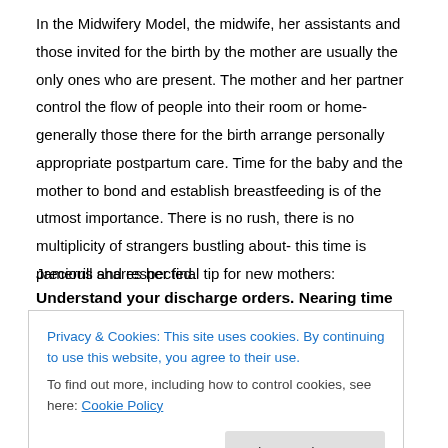In the Midwifery Model, the midwife, her assistants and those invited for the birth by the mother are usually the only ones who are present. The mother and her partner control the flow of people into their room or home- generally those there for the birth arrange personally appropriate postpartum care. Time for the baby and the mother to bond and establish breastfeeding is of the utmost importance. There is no rush, there is no multiplicity of strangers bustling about- this time is precious and respected.
Jamerrill shares her final tip for new mothers:
Understand your discharge orders. Nearing time for you and baby to be discharged your nurse will review your discharge orders. If
Privacy & Cookies: This site uses cookies. By continuing to use this website, you agree to their use.
To find out more, including how to control cookies, see here: Cookie Policy
week or so by her pediatrician and the mother will next be seen in six